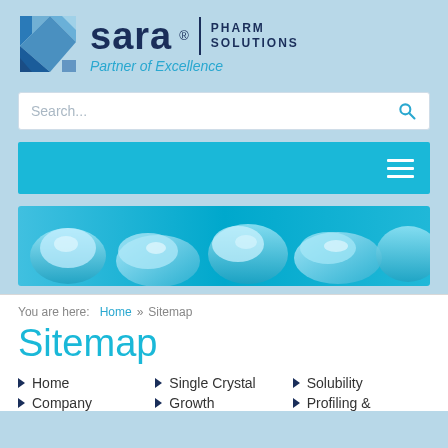[Figure (logo): Sara Pharm Solutions logo with geometric blue diamond shape, company name 'sara®' in dark navy, 'PHARM SOLUTIONS' in dark navy, and tagline 'Partner of Excellence' in teal italic]
Search...
[Figure (screenshot): Teal navigation bar with hamburger menu icon (three horizontal lines) on the right]
[Figure (photo): Hero image of blue crystalline/mineral formations on a light blue background]
You are here:  Home  »  Sitemap
Sitemap
Home
Single Crystal
Solubility
Company
Growth
Profiling &